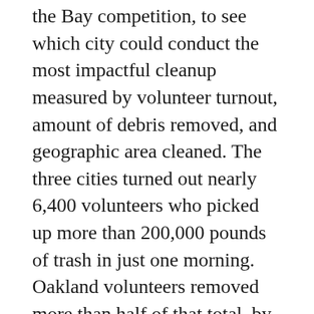the Bay competition, to see which city could conduct the most impactful cleanup measured by volunteer turnout, amount of debris removed, and geographic area cleaned. The three cities turned out nearly 6,400 volunteers who picked up more than 200,000 pounds of trash in just one morning. Oakland volunteers removed more than half of that total, by clearing 109,460 pounds of debris from Oakland's creeks, parks, shorelines, and streets.
Oakland Creek to Bay Day and Coastal Cleanup Day volunteers don't just clean up, they also collect and report data on the trash they find and remove. This information gives us a better